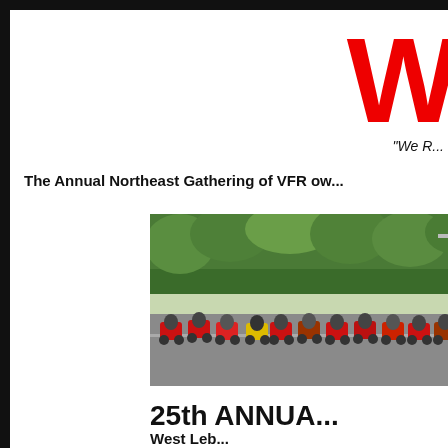W
"We R..."
The Annual Northeast Gathering of VFR ow...
[Figure (photo): Group of motorcycle riders lined up on a road with trees in background]
25th ANNUA...
West Leb...
Septe...